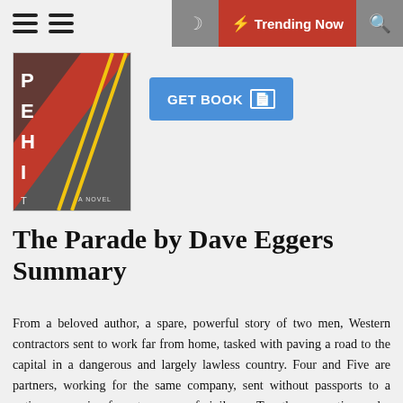Trending Now
[Figure (illustration): Book cover for The Parade by Dave Eggers, showing a stylized road scene with red background and text 'P E H I T A Novel']
The Parade by Dave Eggers Summary
From a beloved author, a spare, powerful story of two men, Western contractors sent to work far from home, tasked with paving a road to the capital in a dangerous and largely lawless country. Four and Five are partners, working for the same company, sent without passports to a nation recovering from ten years of civil war. Together, operating under pseudonyms and anonymous to potential kidnappers, they are given a new machine, the RS-90, and tasked with building a highway that connects the country's far-flung villages with the capital. Four, nicknamed "The Clock," is one of the highway's most experienced operators, never falling short of his assigned schedule. He drives the RS-90, stopping only to sleep and eat the food provided by the company.